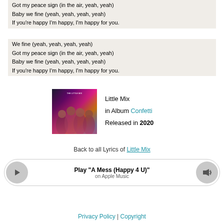Got my peace sign (in the air, yeah, yeah)
Baby we fine (yeah, yeah, yeah, yeah)
If you're happy I'm happy, I'm happy for you.
We fine (yeah, yeah, yeah, yeah)
Got my peace sign (in the air, yeah, yeah)
Baby we fine (yeah, yeah, yeah, yeah)
If you're happy I'm happy, I'm happy for you.
[Figure (photo): Little Mix Confetti album cover art showing four women]
Little Mix
in Album Confetti
Released in 2020
Back to all Lyrics of Little Mix
Play "A Mess (Happy 4 U)"
on Apple Music
Privacy Policy | Copyright